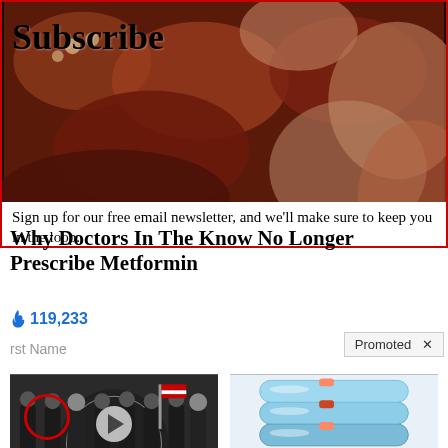[Figure (screenshot): Top advertisement with red border. Background shows close-up medical/organic image. 'Subscribe' text overlaid in bold serif font. Newsletter signup prompt with overlapping article title 'Why Doctors In The Know No Longer Prescribe Metformin'. Fire icon with count 119,233. Promoted badge with X. First Name input field partially visible.]
Sign up for our free email newsletter, and we'll make sure to keep you in the loop.
Why Doctors In The Know No Longer Prescribe Metformin
🔥 119,233
Promoted X
[Figure (screenshot): Thumbnail of Biden video — group of men in suits standing in front of CIA seal, one person circled in red. Play button overlay in center.]
Biden Probably Wants This Video Destroyed — Massive Currency Upheaval Has Started
🔥 249,953
[Figure (photo): Light blue wearable device / bracelets stacked, product photo for Eddie ED treatment wearable.]
Treat ED With Eddie — The Proven, Comfortable Wearable That Comes With A Satisfaction Guarantee
🔥 162,634